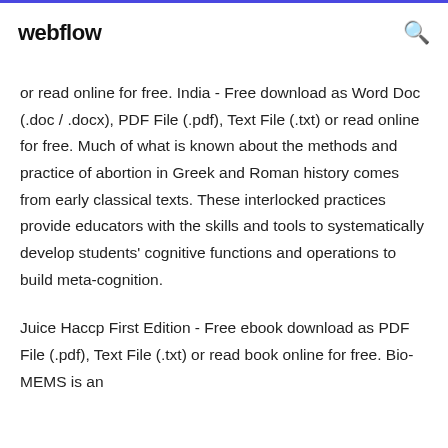webflow
or read online for free. India - Free download as Word Doc (.doc / .docx), PDF File (.pdf), Text File (.txt) or read online for free. Much of what is known about the methods and practice of abortion in Greek and Roman history comes from early classical texts. These interlocked practices provide educators with the skills and tools to systematically develop students' cognitive functions and operations to build meta-cognition.
Juice Haccp First Edition - Free ebook download as PDF File (.pdf), Text File (.txt) or read book online for free. Bio-MEMS is an